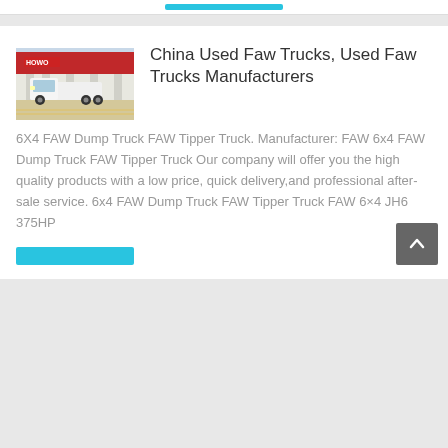[Figure (photo): Thumbnail image of a white FAW truck (tractor unit) parked in front of a red HOWO/FAW branded building facade]
China Used Faw Trucks, Used Faw Trucks Manufacturers
6X4 FAW Dump Truck FAW Tipper Truck. Manufacturer: FAW 6x4 FAW Dump Truck FAW Tipper Truck Our company will offer you the high quality products with a low price, quick delivery,and professional after-sale service. 6x4 FAW Dump Truck FAW Tipper Truck FAW 6×4 JH6 375HP